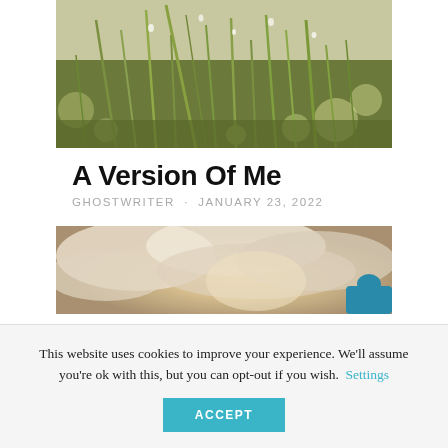[Figure (photo): Close-up photo of grass blades with water droplets]
A Version Of Me
GHOSTWRITER · JANUARY 23, 2022
[Figure (photo): Photo of a cloudy sky with sunlight, partial figure visible at bottom right]
This website uses cookies to improve your experience. We'll assume you're ok with this, but you can opt-out if you wish. Settings ACCEPT